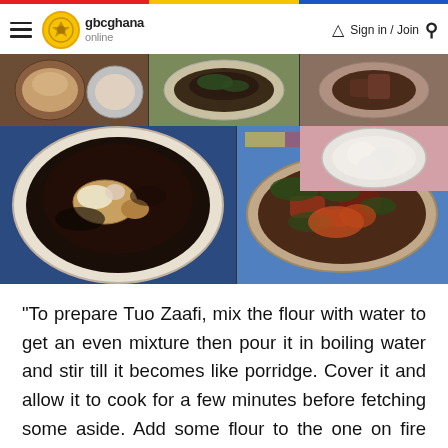gbcghana online | Sign in / Join
[Figure (photo): Collage of Tuo Zaafi dishes — multiple bowls showing dark soup with meat and leafy greens (kontomire/ayoyo) stew, including a white bowl with dark soup, a large bowl with meat and greens, and a bowl of light dumplings with green sauce]
"To prepare Tuo Zaafi, mix the flour with water to get an even mixture then pour it in boiling water and stir till it becomes like porridge. Cover it and allow it to cook for a few minutes before fetching some aside. Add some flour to the one on fire and